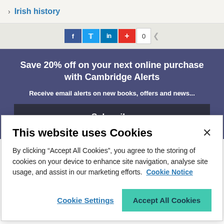> Irish history
[Figure (other): Social share bar with Facebook, Twitter, LinkedIn, and plus icons, and a share count of 0]
Save 20% off on your next online purchase with Cambridge Alerts
Receive email alerts on new books, offers and news...
Subscribe
This website uses Cookies
By clicking “Accept All Cookies”, you agree to the storing of cookies on your device to enhance site navigation, analyse site usage, and assist in our marketing efforts. Cookie Notice
Cookie Settings
Accept All Cookies